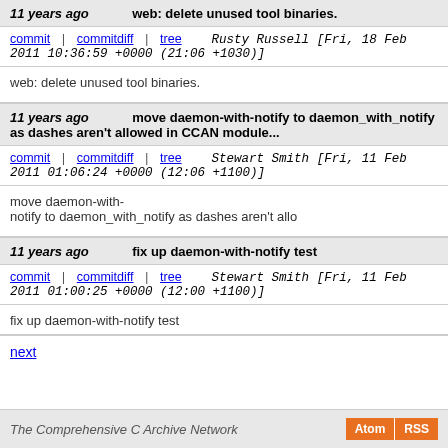11 years ago   web: delete unused tool binaries.
commit | commitdiff | tree   Rusty Russell [Fri, 18 Feb 2011 10:36:59 +0000 (21:06 +1030)]
web: delete unused tool binaries.
11 years ago   move daemon-with-notify to daemon_with_notify as dashes aren't allowed in CCAN module...
commit | commitdiff | tree   Stewart Smith [Fri, 11 Feb 2011 01:06:24 +0000 (12:06 +1100)]
move daemon-with-notify to daemon_with_notify as dashes aren't allo
11 years ago   fix up daemon-with-notify test
commit | commitdiff | tree   Stewart Smith [Fri, 11 Feb 2011 01:00:25 +0000 (12:00 +1100)]
fix up daemon-with-notify test
next
The Comprehensive C Archive Network